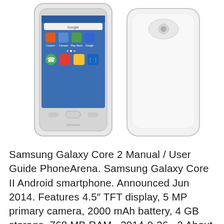[Figure (photo): Two Samsung Galaxy Core 2 smartphones shown side by side — front view (left) showing the screen with Android home screen icons, and back view (right) showing the plain white rear cover.]
Samsung Galaxy Core 2 Manual / User Guide PhoneArena. Samsung Galaxy Core II Android smartphone. Announced Jun 2014. Features 4.5″ TFT display, 5 MP primary camera, 2000 mAh battery, 4 GB storage, 768 MB RAM., 2014-9-26 · 2 About this manual This device provides high quality mobile communication and entertainment using Samsung's high standards and technological expertise. This user